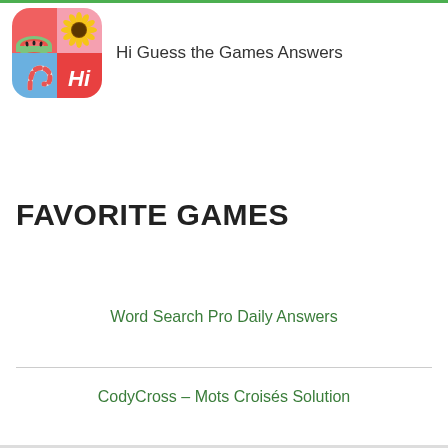[Figure (logo): App icon for Hi Guess the Games Answers — colorful quadrant icon with watermelon, sunflower, candy cane, and Hi branding]
Hi Guess the Games Answers
FAVORITE GAMES
Word Search Pro Daily Answers
CodyCross – Mots Croisés Solution